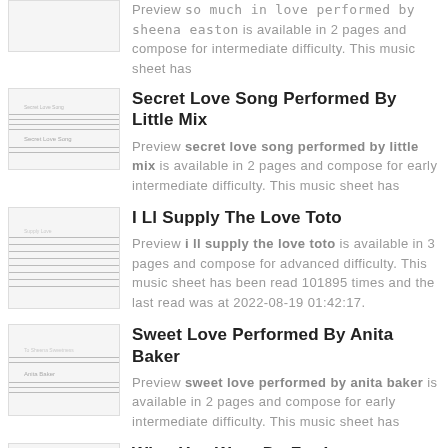Preview so much in love performed by sheena easton is available in 2 pages and compose for intermediate difficulty. This music sheet has
Secret Love Song Performed By Little Mix
Preview secret love song performed by little mix is available in 2 pages and compose for early intermediate difficulty. This music sheet has
I Ll Supply The Love Toto
Preview i ll supply the love toto is available in 3 pages and compose for advanced difficulty. This music sheet has been read 101895 times and the last read was at 2022-08-19 01:42:17.
Sweet Love Performed By Anita Baker
Preview sweet love performed by anita baker is available in 2 pages and compose for early intermediate difficulty. This music sheet has
What You Wont Do For Love Performed By Bobby Caldwell
Preview what you wont do for love performed by bobby caldwell is available in 2 pages and